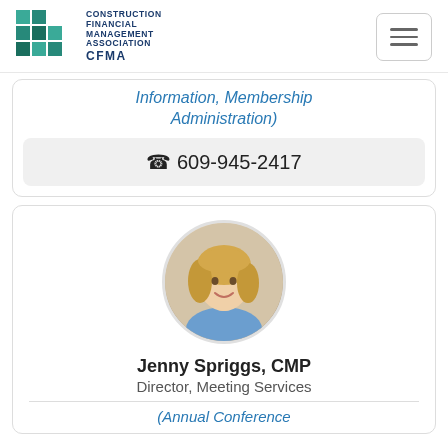[Figure (logo): CFMA Construction Financial Management Association logo with green grid squares and dark blue text]
Information, Membership Administration)
☎ 609-945-2417
[Figure (photo): Oval headshot photo of Jenny Spriggs, a woman with blonde hair wearing a blue top]
Jenny Spriggs, CMP
Director, Meeting Services
(Annual Conference